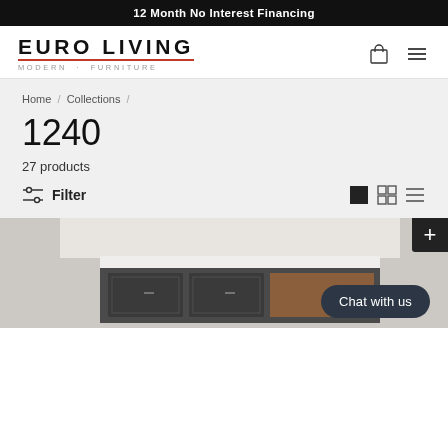12 Month No Interest Financing
[Figure (logo): Euro Living Modern Furniture logo with red underline]
Home / Collections /
1240
27 products
Filter
[Figure (photo): Partial view of a modern furniture piece, appears to be a media unit or dresser in white and walnut finish]
Chat with us